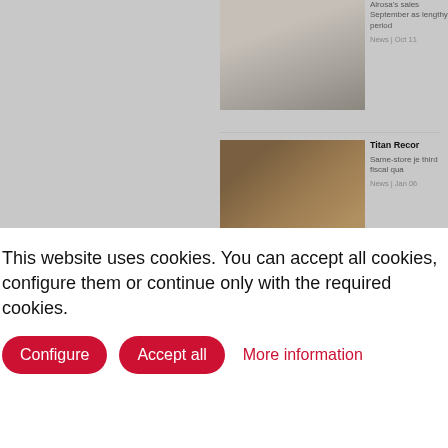[Figure (photo): News article thumbnail showing display items on a table]
Alrosa's sales September as lengthy period
News | Oct 11
[Figure (photo): News article thumbnail showing decorative items with woven/braided texture]
Titan Recor
Same-store je third fiscal qua
News | Jan 06
[Figure (photo): News article thumbnail showing De Beers related image]
De Beers Sa
De Beers reco
This website uses cookies. You can accept all cookies, configure them or continue only with the required cookies.
Configure
Accept all
More information